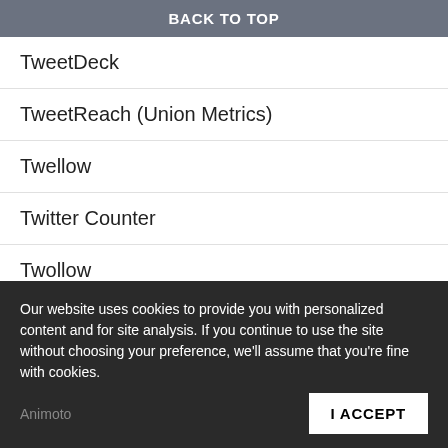BACK TO TOP
TweetDeck
TweetReach (Union Metrics)
Twellow
Twitter Counter
Twollow
Unmetric
Our website uses cookies to provide you with personalized content and for site analysis. If you continue to use the site without choosing your preference, we'll assume that you're fine with cookies.
Animoto
I ACCEPT